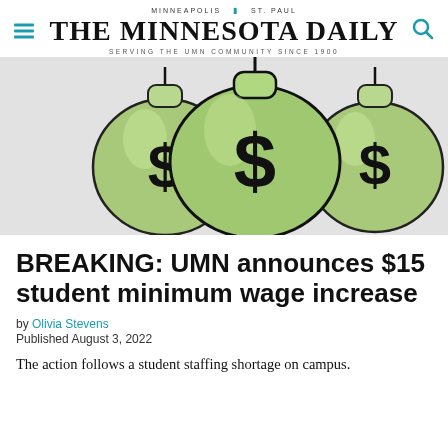MINNEAPOLIS | ST. PAUL — THE MINNESOTA DAILY — SERVING THE UMN COMMUNITY SINCE 1900
[Figure (illustration): Three green money bags with black dollar signs on them, arranged with one in the front center and two behind on the left and right, against a light gray background.]
BREAKING: UMN announces $15 student minimum wage increase
by Olivia Stevens
Published August 3, 2022
The action follows a student staffing shortage on campus.